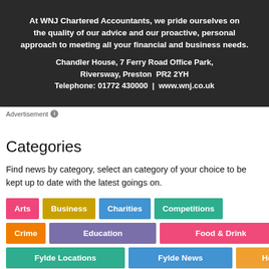[Figure (other): WNJ Chartered Accountants advertisement banner with dark background showing hands on laptop. Text: 'At WNJ Chartered Accountants, we pride ourselves on the quality of our advice and our proactive, personal approach to meeting all your financial and business needs. Chandler House, 7 Ferry Road Office Park, Riversway, Preston PR2 2YH Telephone: 01772 430000 | www.wnj.co.uk']
Advertisement ℹ
Categories
Find news by category, select an category of your choice to be kept up to date with the latest goings on.
Arts
Business
Charities
Competitions
Crime
Education
Food & Drink
Fylde Locations
Fylde News
Health
History
In Case You Missed It
Opinion